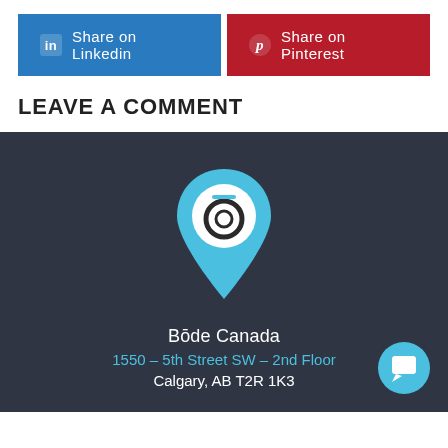[Figure (other): Share on LinkedIn button (blue) and Share on Pinterest button (red)]
LEAVE A COMMENT
[Figure (logo): Bōde location pin logo in cyan/white on dark background]
Bōde Canada
1550 – 5th Street SW – 2nd Floor
Calgary, AB T2R 1K3